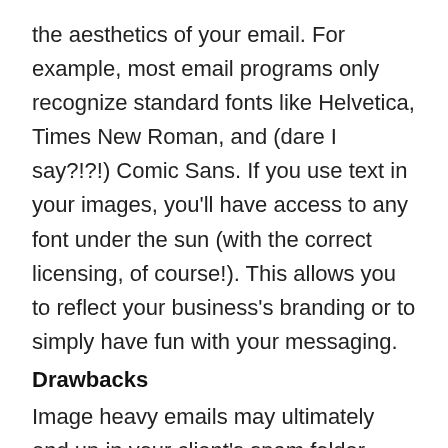the aesthetics of your email. For example, most email programs only recognize standard fonts like Helvetica, Times New Roman, and (dare I say?!?!) Comic Sans. If you use text in your images, you'll have access to any font under the sun (with the correct licensing, of course!). This allows you to reflect your business's branding or to simply have fun with your messaging.
Drawbacks
Image heavy emails may ultimately end up in your client's spam folder. Internet Service Providers assess content to determine if the email will be delivered. If you send an email without content (and images do NOT count), then into the spam folder it goes.